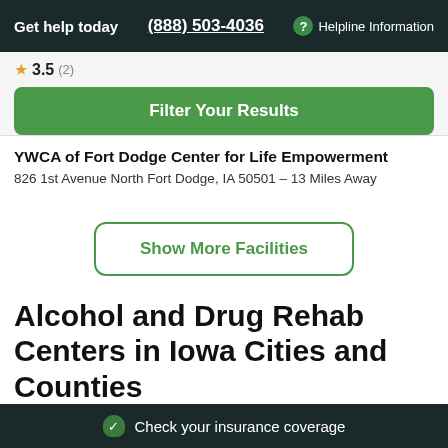Get help today  (888) 503-4036  ? Helpline Information
3.5 (2)
Filter Your Results
YWCA of Fort Dodge Center for Life Empowerment
826 1st Avenue North Fort Dodge, IA 50501 – 13 Miles Away
Show More Facilities
Alcohol and Drug Rehab Centers in Iowa Cities and Counties
Check your insurance coverage